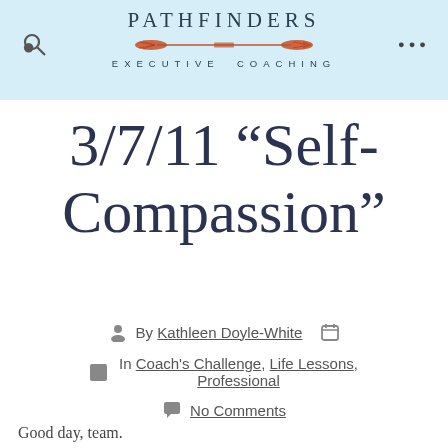PATHFINDERS EXECUTIVE COACHING
3/7/11 “Self-Compassion”
By Kathleen Doyle-White
In Coach's Challenge, Life Lessons, Professional
No Comments
Good day, team.